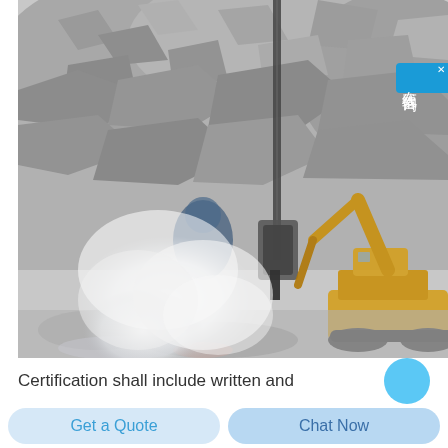[Figure (photo): Construction/mining site photo showing heavy drilling equipment and machinery operating in a rocky excavation pit. A cloud of white dust or steam is visible near the drill. Yellow tracked excavator visible on right side. Various rocks and debris fill the scene.]
在线咨询
Certification shall include written and
Get a Quote
Chat Now